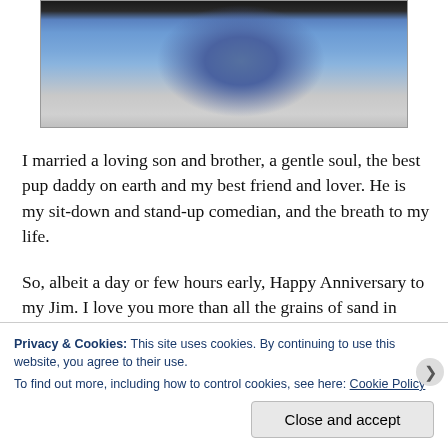[Figure (photo): Partial photo showing lower portion of a person in a wheelchair wearing blue jeans, with pavement/sidewalk visible in background. Only the lower half of the image is visible at the top of the page.]
I married a loving son and brother, a gentle soul, the best pup daddy on earth and my best friend and lover. He is my sit-down and stand-up comedian, and the breath to my life.
So, albeit a day or few hours early, Happy Anniversary to my Jim. I love you more than all the grains of sand in Higbee and the Panama Canal basin.
Privacy & Cookies: This site uses cookies. By continuing to use this website, you agree to their use.
To find out more, including how to control cookies, see here: Cookie Policy
Close and accept